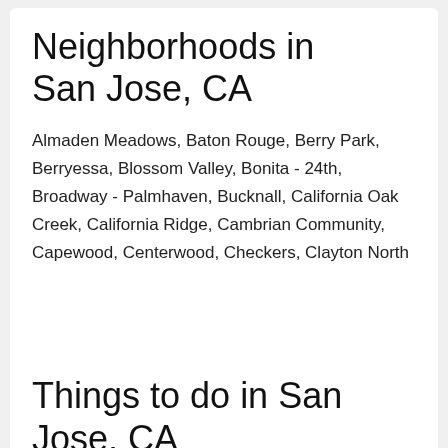Neighborhoods in San Jose, CA
Almaden Meadows, Baton Rouge, Berry Park, Berryessa, Blossom Valley, Bonita - 24th, Broadway - Palmhaven, Bucknall, California Oak Creek, California Ridge, Cambrian Community, Capewood, Centerwood, Checkers, Clayton North
Things to do in San Jose, CA